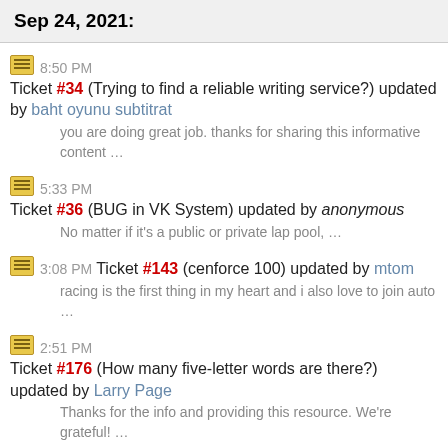Sep 24, 2021:
8:50 PM Ticket #34 (Trying to find a reliable writing service?) updated by baht oyunu subtitrat — you are doing great job. thanks for sharing this informative content …
5:33 PM Ticket #36 (BUG in VK System) updated by anonymous — No matter if it's a public or private lap pool, …
3:08 PM Ticket #143 (cenforce 100) updated by mtom — racing is the first thing in my heart and i also love to join auto …
2:51 PM Ticket #176 (How many five-letter words are there?) updated by Larry Page — Thanks for the info and providing this resource. We're grateful! …
2:36 PM Ticket #440 (oracle certification in chennai) created by anonymous